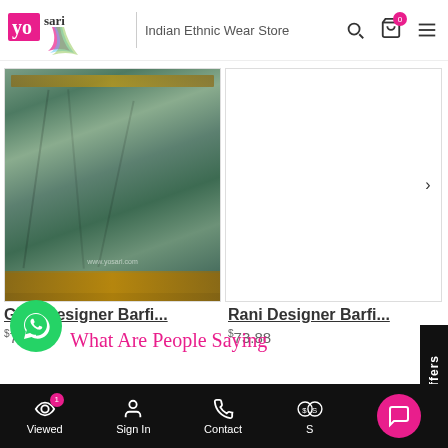[Figure (screenshot): YoSari Indian Ethnic Wear Store website header with logo, store name, search icon, cart icon with badge 0, and menu icon]
[Figure (photo): Grey Designer Barfi saree product image showing a green/grey embroidered saree]
[Figure (photo): Rani Designer Barfi saree product image showing a pink and yellow embroidered saree with a next arrow button]
Grey Designer Barfi...
$73.88
Rani Designer Barfi...
$73.88
[Figure (logo): WhatsApp green circular button icon]
What Are People Saying
Viewed 1 | Sign In | Contact | Currency | Chat